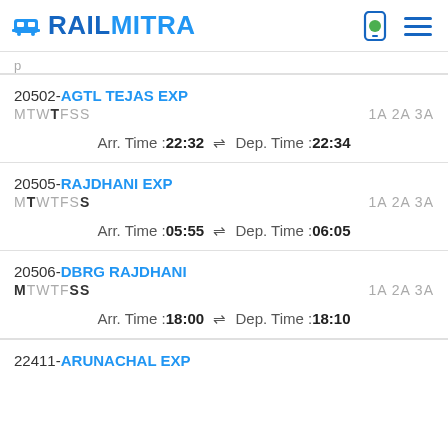RAILMITRA
20502-AGTL TEJAS EXP MTWTFSS 1A 2A 3A Arr. Time :22:32 ⇌ Dep. Time :22:34
20505-RAJDHANI EXP MTWTFSS 1A 2A 3A Arr. Time :05:55 ⇌ Dep. Time :06:05
20506-DBRG RAJDHANI MTWTFSS 1A 2A 3A Arr. Time :18:00 ⇌ Dep. Time :18:10
22411-ARUNACHAL EXP